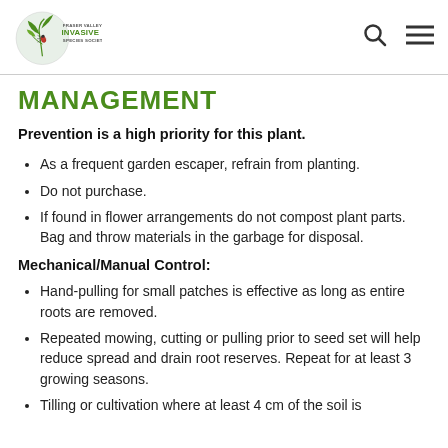[Figure (logo): Fraser Valley Invasive Species Society logo with green leaf/plant graphic and text]
MANAGEMENT
Prevention is a high priority for this plant.
As a frequent garden escaper, refrain from planting.
Do not purchase.
If found in flower arrangements do not compost plant parts. Bag and throw materials in the garbage for disposal.
Mechanical/Manual Control:
Hand-pulling for small patches is effective as long as entire roots are removed.
Repeated mowing, cutting or pulling prior to seed set will help reduce spread and drain root reserves. Repeat for at least 3 growing seasons.
Tilling or cultivation where at least 4 cm of the soil is